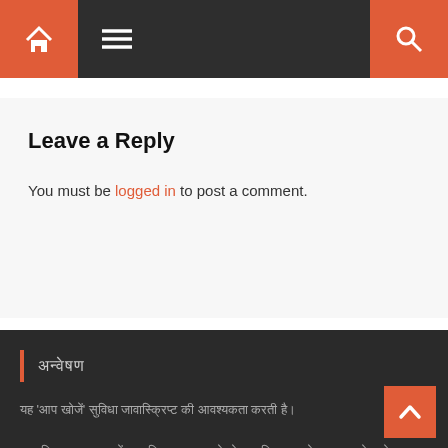Navigation bar with home, menu, and search icons
Leave a Reply
You must be logged in to post a comment.
अन्वेषण
यह 'आप खोजें' सुविधा जावास्क्रिप्ट की आवश्यकता करती है।
जावास्क्रिप्ट सक्षम करें जावास्क्रिप्ट सक्षम हो तो जावास्क्रिप्ट को सक्षम करने वाले ब्राउज़र में खुलता है। कृपया जावास्क्रिप्ट को सक्षम करने के लिए ब्राउज़र सेटिंग जावास्क्रिप्ट सक्षम करें।